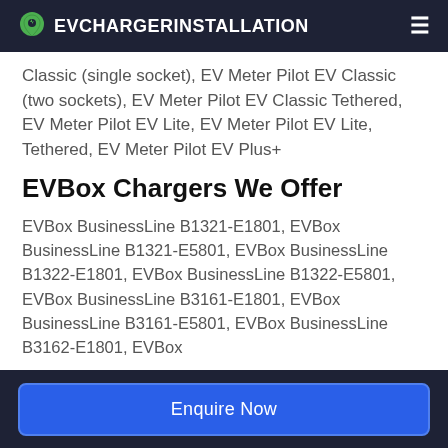EVCHARGERINSTALLATION
Classic (single socket), EV Meter Pilot EV Classic (two sockets), EV Meter Pilot EV Classic Tethered, EV Meter Pilot EV Lite, EV Meter Pilot EV Lite, Tethered, EV Meter Pilot EV Plus+
EVBox Chargers We Offer
EVBox BusinessLine B1321-E1801, EVBox BusinessLine B1321-E5801, EVBox BusinessLine B1322-E1801, EVBox BusinessLine B1322-E5801, EVBox BusinessLine B3161-E1801, EVBox BusinessLine B3161-E5801, EVBox BusinessLine B3162-E1801, EVBox
Enquire Now